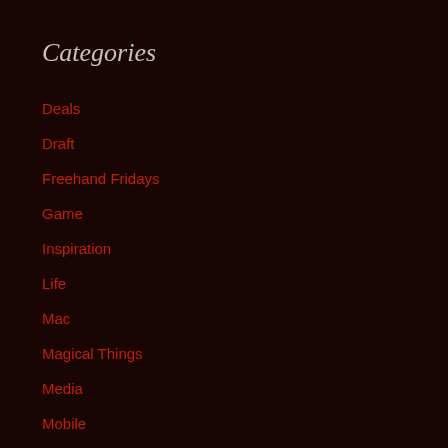Categories
Deals
Draft
Freehand Fridays
Game
Inspiration
Life
Mac
Magical Things
Media
Mobile
Music
Reviews